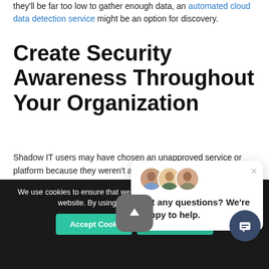they'll be far too low to gather enough data, an automated cloud data detection service might be an option for discovery.
Create Security Awareness Throughout Your Organization
Shadow IT users may have chosen an unapproved service or platform because they weren't aware of approved options and how to find them. It's also likely that they lack understanding of the risks associated with sha...
The goal should be to crea... awareness and educate nor...
[Figure (screenshot): Chat popup with three avatars and text 'Got any questions? We're happy to help.' with a close button]
We use cookies to ensure that we give you the best experience on our website. By using our s... nsent to the use of coo...
[Figure (screenshot): Accept Cookies and Privacy Policy buttons on dark cookie banner, with scroll-to-top button and chat button]